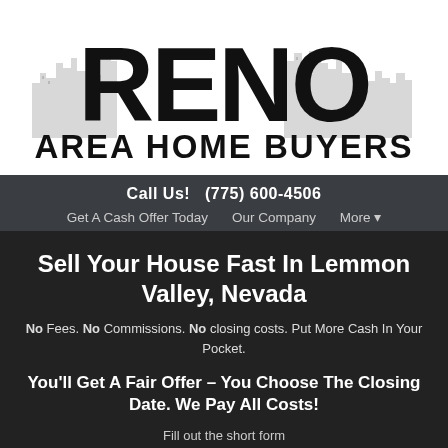[Figure (logo): Reno Area Home Buyers logo with cityscape silhouette behind large RENO text and AREA HOME BUYERS below]
Call Us!  (775) 600-4506
Get A Cash Offer Today   Our Company   More ▾
Sell Your House Fast In Lemmon Valley, Nevada
No Fees. No Commissions. No closing costs. Put More Cash In Your Pocket.
You'll Get A Fair Offer – You Choose The Closing Date. We Pay All Costs!
Fill out the short form